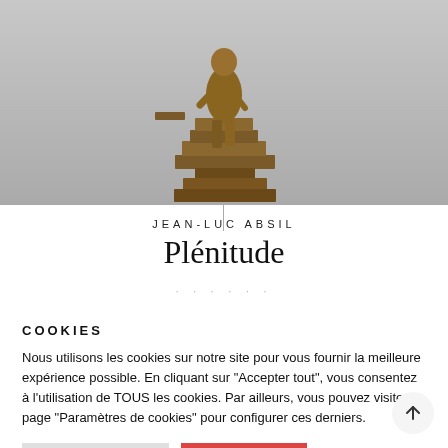[Figure (photo): Bronze sculpture of a figure on stacked architectural elements/ruins, on a grey gradient background]
JEAN-LUC ABSIL
Plénitude
COOKIES
Nous utilisons les cookies sur notre site pour vous fournir la meilleure expérience possible. En cliquant sur "Accepter tout", vous consentez à l'utilisation de TOUS les cookies. Par ailleurs, vous pouvez visiter la page "Paramètres de cookies" pour configurer ces derniers.
Paramètres Cookie
Tout accepter